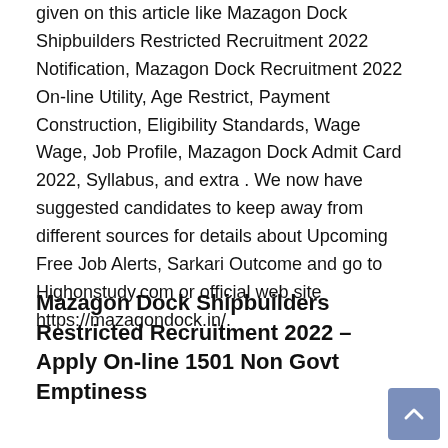given on this article like Mazagon Dock Shipbuilders Restricted Recruitment 2022 Notification, Mazagon Dock Recruitment 2022 On-line Utility, Age Restrict, Payment Construction, Eligibility Standards, Wage Wage, Job Profile, Mazagon Dock Admit Card 2022, Syllabus, and extra . We now have suggested candidates to keep away from different sources for details about Upcoming Free Job Alerts, Sarkari Outcome and go to Highonstudy.com or official web site https://mazagondock.in/.
Mazagon Dock Shipbuilders Restricted Recruitment 2022 – Apply On-line 1501 Non Govt Emptiness